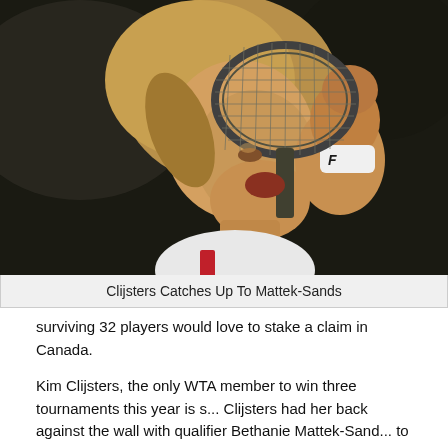[Figure (photo): Kim Clijsters celebrating, holding a tennis racket close to her face and pumping her fist, wearing a FILA wristband]
Clijsters Catches Up To Mattek-Sands
surviving 32 players would love to stake a claim in Canada.
Kim Clijsters, the only WTA member to win three tournaments this year is s... Clijsters had her back against the wall with qualifier Bethanie Mattek-Sand... to be on the way out before she staged a furious rally that did not stop un... victory. Clijsters, who was placed in Stosur's position in the draw will next p... who advanced at the expense of Sybille Bammer 7-5, 6-2.
Marion Bartoli, who advanced by way of a walkover when Kimiko Date Kru... Jankovic's conquereress, Czech Iveta Bensova. Meanwhile second and fo... Elena Dementieva moved on handily. Wozniacki edged past Patty Schnyde... Klara Zakopalova 6-2, 6-4.